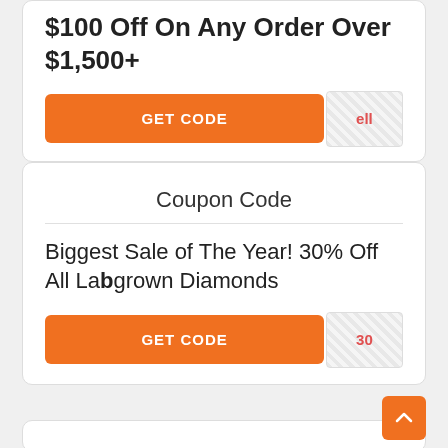$100 Off On Any Order Over $1,500+
GET CODE
ell
Coupon Code
Biggest Sale of The Year! 30% Off All Labgrown Diamonds
GET CODE
30